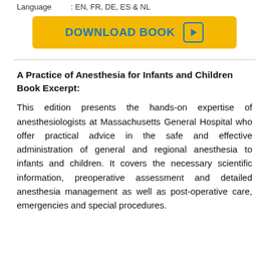Language : EN, FR, DE, ES & NL
[Figure (other): Yellow download button with text DOWNLOAD BOOK and a play icon]
A Practice of Anesthesia for Infants and Children Book Excerpt:
This edition presents the hands-on expertise of anesthesiologists at Massachusetts General Hospital who offer practical advice in the safe and effective administration of general and regional anesthesia to infants and children. It covers the necessary scientific information, preoperative assessment and detailed anesthesia management as well as post-operative care, emergencies and special procedures.